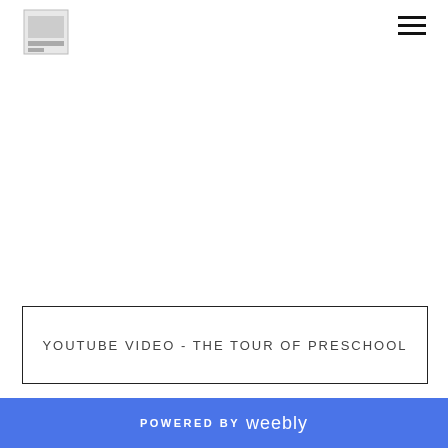[Figure (logo): Small square logo icon in top left corner]
[Figure (other): Hamburger menu icon (three horizontal lines) in top right corner]
YOUTUBE VIDEO - THE TOUR OF PRESCHOOL
POWERED BY weebly